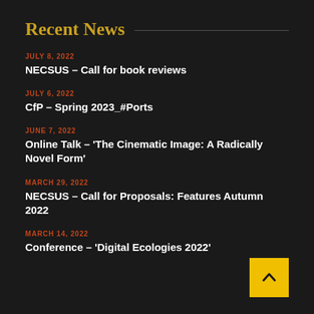Recent News
JULY 8, 2022
NECSUS – Call for book reviews
JULY 6, 2022
CfP – Spring 2023_#Ports
JUNE 7, 2022
Online Talk – 'The Cinematic Image: A Radically Novel Form'
MARCH 29, 2022
NECSUS – Call for Proposals: Features Autumn 2022
MARCH 14, 2022
Conference – 'Digital Ecologies 2022'